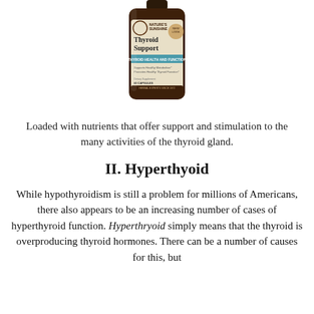[Figure (photo): Nature's Sunshine Thyroid Support supplement bottle — brown glass bottle with beige and teal label reading 'Thyroid Support', 'Thyroid Health and Function', 'Supports Healthy Metabolism', 'Promotes Healthy Thyroid Function', '60 Capsules', 'Herbal Experts Since 1972']
Loaded with nutrients that offer support and stimulation to the many activities of the thyroid gland.
II. Hyperthyoid
While hypothyroidism is still a problem for millions of Americans, there also appears to be an increasing number of cases of hyperthyroid function. Hyperthryoid simply means that the thyroid is overproducing thyroid hormones. There can be a number of causes for this, but